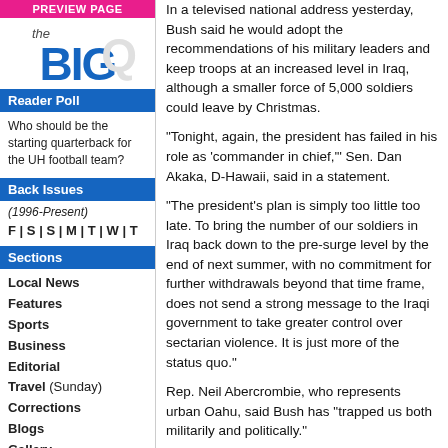PREVIEW PAGE
[Figure (logo): The Big Q Reader Poll logo with large blue BIG text and grey Q]
Reader Poll
Who should be the starting quarterback for the UH football team?
Back Issues
(1996-Present)
F | S | S | M | T | W | T
Sections
Local News
Features
Sports
Business
Editorial
Travel (Sunday)
Corrections
Blogs
Gallery
Calendars
Movies
In a televised national address yesterday, Bush said he would adopt the recommendations of his military leaders and keep troops at an increased level in Iraq, although a smaller force of 5,000 soldiers could leave by Christmas.
"Tonight, again, the president has failed in his role as 'commander in chief,'" Sen. Dan Akaka, D-Hawaii, said in a statement.
"The president's plan is simply too little too late. To bring the number of our soldiers in Iraq back down to the pre-surge level by the end of next summer, with no commitment for further withdrawals beyond that time frame, does not send a strong message to the Iraqi government to take greater control over sectarian violence. It is just more of the status quo."
Rep. Neil Abercrombie, who represents urban Oahu, said Bush has "trapped us both militarily and politically."
"There is no happy ending in sight. We are in a terrible mess in the middle of a civil war," Abercrombie said.
Abercrombie will be part of a congressional delegation visiting both Iraq and Afghanistan next week.
Rep. Mazie Hirono, whose district covers rural Oahu and the neighbor islands, called Bush's speech "more of the same."
Hirono said political leaders in Iraq were supposed to use the surge to stop sectarian violence but that Iraq leaders had failed to act.